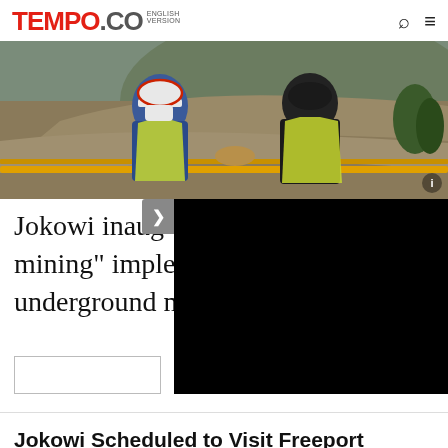TEMPO.CO ENGLISH VERSION
[Figure (photo): Two workers in yellow safety vests and hard hats shaking hands at a mining site with open pit mine in background]
Jokowi inaugurates "block caving mining" implementation in Freeport's underground mine
[Figure (screenshot): Black video player overlay panel with forward arrow button on left side]
Jokowi Scheduled to Visit Freeport Indonesia Mining Facility